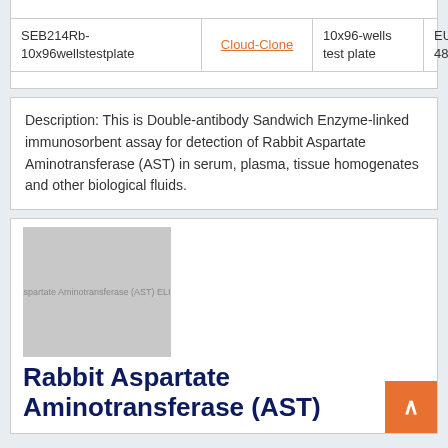| Product | Vendor | Quantity | Price |
| --- | --- | --- | --- |
| SEB214Rb-10x96wellstestplate | Cloud-Clone | 10x96-wells test plate | EUR 4875.49 |
Description: This is Double-antibody Sandwich Enzyme-linked immunosorbent assay for detection of Rabbit Aspartate Aminotransferase (AST) in serum, plasma, tissue homogenates and other biological fluids.
[Figure (photo): Product image placeholder showing Aspartate Aminotransferase (AST) ELISA kit]
Rabbit Aspartate Aminotransferase (AST)